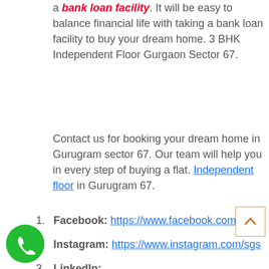a bank loan facility. It will be easy to balance financial life with taking a bank loan facility to buy your dream home. 3 BHK Independent Floor Gurgaon Sector 67.
Contact us for booking your dream home in Gurugram sector 67. Our team will help you in every step of buying a flat. Independent floor in Gurugram 67.
1. Facebook: https://www.facebook.com/sgsa...
2. Instagram: https://www.instagram.com/sgs...
3. LinkedIn: https://www.linkedin.com/compa...ghar